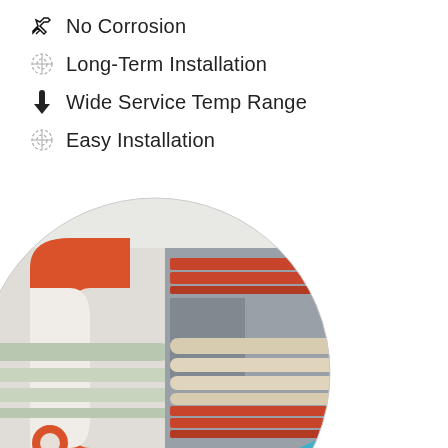No Corrosion
Long-Term Installation
Wide Service Temp Range
Easy Installation
[Figure (engineering-diagram): Cross-sectional illustration showing a pipe fitting assembly with pipes, orange/red sealing components, gray housing, and light blue elements, displayed in a circular cropped view]